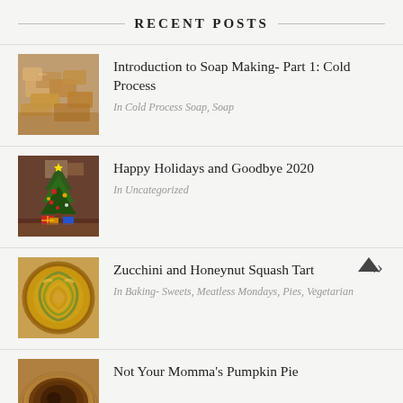RECENT POSTS
Introduction to Soap Making- Part 1: Cold Process
In Cold Process Soap, Soap
Happy Holidays and Goodbye 2020
In Uncategorized
Zucchini and Honeynut Squash Tart
In Baking- Sweets, Meatless Mondays, Pies, Vegetarian
Not Your Momma's Pumpkin Pie